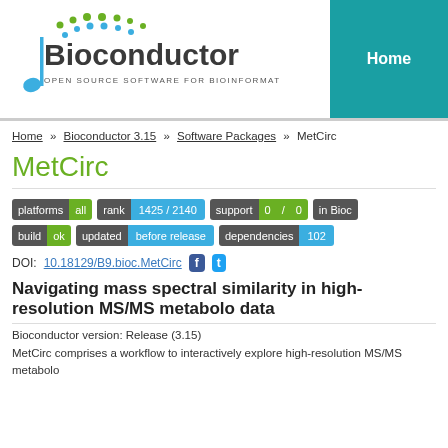[Figure (logo): Bioconductor logo with musical note and dot chain graphic, tagline: OPEN SOURCE SOFTWARE FOR BIOINFORMATICS]
Home
Home » Bioconductor 3.15 » Software Packages » MetCirc
MetCirc
[Figure (infographic): Badges: platforms all | rank 1425 / 2140 | support 0 / 0 | in Bioc... | build ok | updated before release | dependencies 102]
DOI: 10.18129/B9.bioc.MetCirc
Navigating mass spectral similarity in high-resolution MS/MS metabolo... data
Bioconductor version: Release (3.15)
MetCirc comprises a workflow to interactively explore high-resolution MS/MS metabolo...